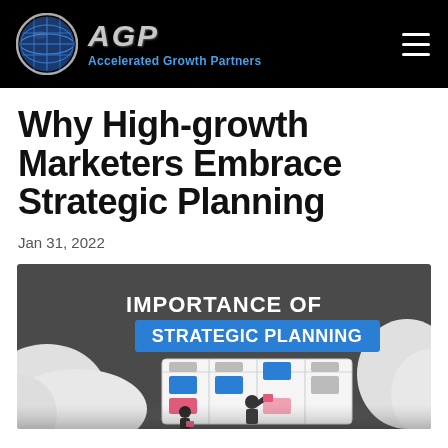AGP Accelerated Growth Partners
Why High-growth Marketers Embrace Strategic Planning
Jan 31, 2022
[Figure (infographic): Infographic titled 'IMPORTANCE OF STRATEGIC PLANNING' showing two people working at a kanban/planning board with colored sticky notes and columns, on a dark gray background with white cloud shapes.]